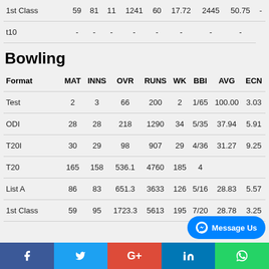| Format | MAT | INNS | OVR | RUNS | WK | BBI | AVG | ECN |
| --- | --- | --- | --- | --- | --- | --- | --- | --- |
| 1st Class | 59 | 81 | 11 | 1241 | 60 | 17.72 | 2445 | 50.75 | - |
| t10 | - | - | - | - | - | - | - | - | - |
Bowling
| Format | MAT | INNS | OVR | RUNS | WK | BBI | AVG | ECN |
| --- | --- | --- | --- | --- | --- | --- | --- | --- |
| Test | 2 | 3 | 66 | 200 | 2 | 1/65 | 100.00 | 3.03 |
| ODI | 28 | 28 | 218 | 1290 | 34 | 5/35 | 37.94 | 5.91 |
| T20I | 30 | 29 | 98 | 907 | 29 | 4/36 | 31.27 | 9.25 |
| T20 | 165 | 158 | 536.1 | 4760 | 185 | 4/... | ... | ... |
| List A | 86 | 83 | 651.3 | 3633 | 126 | 5/16 | 28.83 | 5.57 |
| 1st Class | 59 | 95 | 1723.3 | 5613 | 195 | 7/20 | 28.78 | 3.25 |